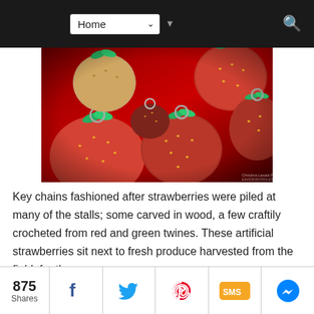Home (navigation bar with dropdown and search)
[Figure (photo): Close-up photo of strawberry-shaped keychains piled together, made of wood and crocheted material in red and green, with metal keyring loops visible.]
Key chains fashioned after strawberries were piled at many of the stalls; some carved in wood, a few craftily crocheted from red and green twines. These artificial strawberries sit next to fresh produce harvested from the field, for the
875 Shares | Facebook | Twitter | Pinterest | SMS | Messenger